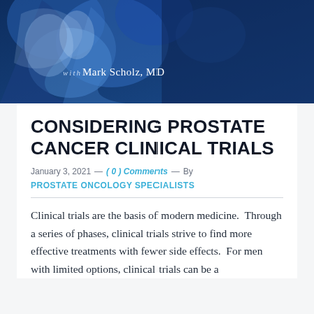[Figure (illustration): Blue abstract medical/globe themed banner image with text 'with Mark Scholz, MD' overlaid on a dark navy and lighter blue abstract background]
CONSIDERING PROSTATE CANCER CLINICAL TRIALS
January 3, 2021  —  ( 0 ) Comments  —  By
PROSTATE ONCOLOGY SPECIALISTS
Clinical trials are the basis of modern medicine.  Through a series of phases, clinical trials strive to find more effective treatments with fewer side effects.  For men with limited options, clinical trials can be a